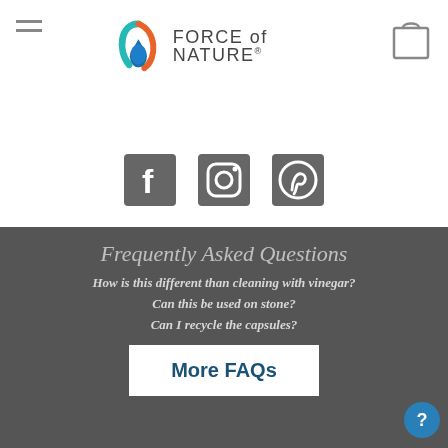Force of Nature - navigation header with hamburger menu and shopping bag
[Figure (logo): Force of Nature logo with a circular water droplet icon and brand name text]
[Figure (infographic): Social media icons: Facebook, Instagram, Pinterest]
Frequently Asked Questions
How is this different than cleaning with vinegar?
Can this be used on stone?
Can I recycle the capsules?
More FAQs